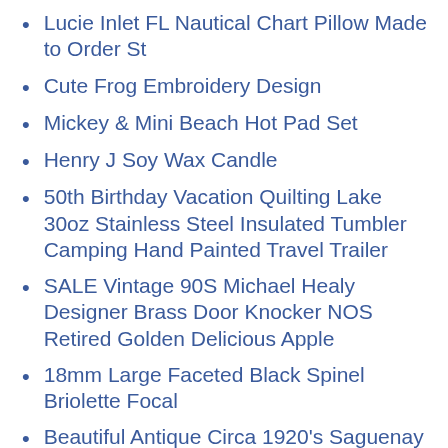Lucie Inlet FL Nautical Chart Pillow Made to Order St
Cute Frog Embroidery Design
Mickey & Mini Beach Hot Pad Set
Henry J Soy Wax Candle
50th Birthday Vacation Quilting Lake 30oz Stainless Steel Insulated Tumbler Camping Hand Painted Travel Trailer
SALE Vintage 90S Michael Healy Designer Brass Door Knocker NOS Retired Golden Delicious Apple
18mm Large Faceted Black Spinel Briolette Focal
Beautiful Antique Circa 1920's Saguenay Quebec Canada Sewn Letter Style Pennant